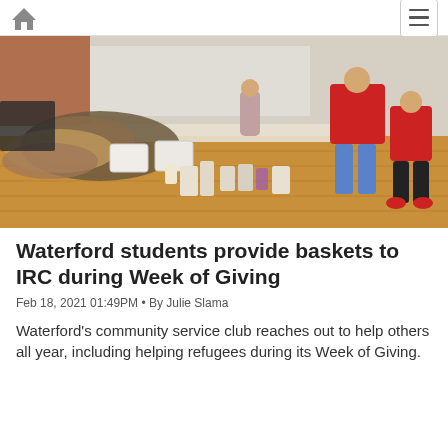Home | Menu
[Figure (photo): Indoor gymnasium or community hall with a long table covered in donated household goods, clothing, laundry baskets, cleaning supplies, and food items. Several people, including children in red holiday sweaters, stand near the table examining items on a hardwood floor.]
Waterford students provide baskets to IRC during Week of Giving
Feb 18, 2021 01:49PM • By Julie Slama
Waterford's community service club reaches out to help others all year, including helping refugees during its Week of Giving.